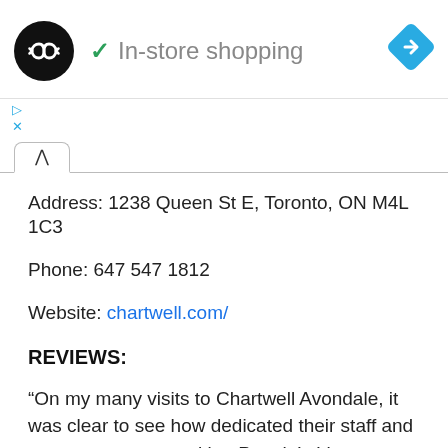[Figure (logo): Black circle logo with white infinity/loop arrow symbol, followed by green checkmark and 'In-store shopping' text, and blue diamond navigation icon on the right]
In-store shopping
▷
X
Address: 1238 Queen St E, Toronto, ON M4L 1C3
Phone: 647 547 1812
Website: chartwell.com/
REVIEWS:
“On my many visits to Chartwell Avondale, it was clear to see how dedicated their staff and managers are to making People’s Lives Better. The residence is so warm, everyone is friendly and welcoming. The grounds are well maintained and extremely clean, staff follow the utmost infection control